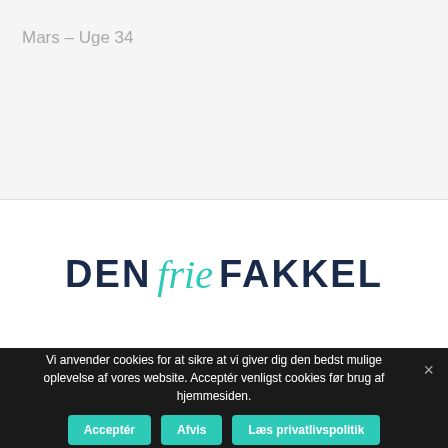Mars – Uge 34
[Figure (logo): Den Frie Fakkel logo — 'DEN' and 'FAKKEL' in bold dark navy, 'frie' in teal cursive italic script]
Vi anvender cookies for at sikre at vi giver dig den bedst mulige oplevelse af vores website. Acceptér venligst cookies før brug af hjemmesiden.
Acceptér   Afvis   Læs privatlivspolitik